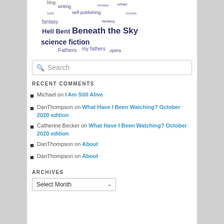[Figure (infographic): Tag/word cloud with blog-related terms in varying sizes and purple colors: blog, writing, review, urban, science, self-publishing, books, fantasy, fantasy, Hell Bent, Beneath the Sky, science fiction, Fathers, my fathers, opera]
Search
RECENT COMMENTS
Michael on I Am Still Alive
DanThompson on What Have I Been Watching? October 2020 edition
Catherine Becker on What Have I Been Watching? October 2020 edition
DanThompson on About
DanThompson on About
ARCHIVES
Select Month